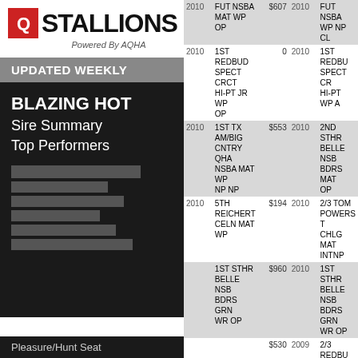[Figure (logo): QStallions logo with red Q icon and bold STALLIONS text, Powered By AQHA subtitle]
UPDATED WEEKLY
BLAZING HOT
Sire Summary
Top Performers
| Year | Description | Amount | Year | Description |
| --- | --- | --- | --- | --- |
| 2010 | FUT NSBA MAT WP OP | $607 | 2010 | FUT NSBA WP NP CL |
| 2010 | 1ST REDBUD SPECT CRCT HI-PT JR WP OP | 0 | 2010 | 1ST REDBD SPECT CR HI-PT WP A |
| 2010 | 1ST TX AM/BIG CNTRY QHA NSBA MAT WP NP NP | $553 | 2010 | 2ND STHR BELLE NSB BDRS MAT OP |
| 2010 | 5TH REICHERT CELN MAT WP | $194 | 2010 | 2/3 TOM POWERS T CHLG MAT INTNP |
| 2010 | 1ST STHR BELLE NSB BDRS GRN WR OP | $960 | 2010 | 1ST STHR BELLE NSB BDRS GRN WR OP |
|  |  | $530 | 2009 | 2/3 REDBU SPECT NS FUT 3YO W OP |
|  |  | 0 | 2009 | 2ND NSBA PT 3YO WR OP |
This website stores data such as cookies to enable necessary site functionality, including analytics, targeting, and personalization.
Data Storage Policy
Accept
Deny
Pleasure/Hunt Seat